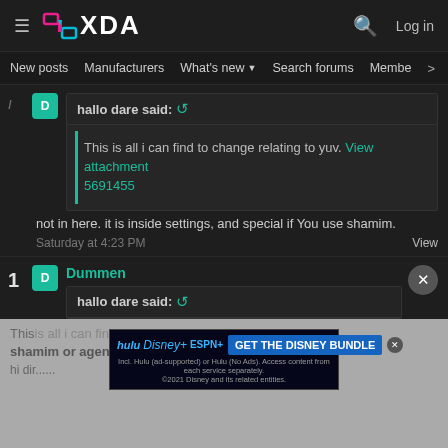[Figure (screenshot): XDA Developers forum page header with logo, hamburger menu, search icon, and Log in button]
New posts  Manufacturers  What's new  Search forums  Membe  >
hallo dare said:
This is all i can find to change relating to yuv. View attachment 5691455
not in here. it is inside settings, and special if You use shamim.
Saturday at 4:23 PM
View
1 Dummen
hallo dare said:
[Figure (screenshot): Hulu Disney Bundle advertisement banner with brands and GET THE DISNEY BUNDLE CTA button]